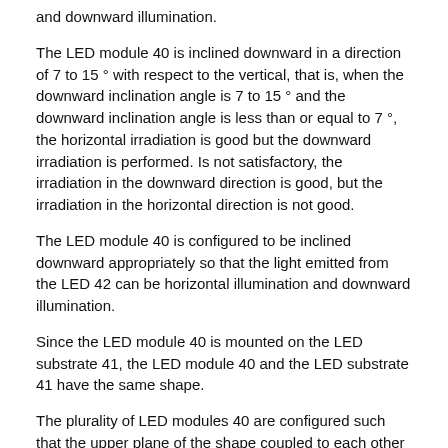and downward illumination.
The LED module 40 is inclined downward in a direction of 7 to 15 ° with respect to the vertical, that is, when the downward inclination angle is 7 to 15 ° and the downward inclination angle is less than or equal to 7 °, the horizontal irradiation is good but the downward irradiation is performed. Is not satisfactory, the irradiation in the downward direction is good, but the irradiation in the horizontal direction is not good.
The LED module 40 is configured to be inclined downward appropriately so that the light emitted from the LED 42 can be horizontal illumination and downward illumination.
Since the LED module 40 is mounted on the LED substrate 41, the LED module 40 and the LED substrate 41 have the same shape.
The plurality of LED modules 40 are configured such that the upper plane of the shape coupled to each other is wider than the lower plane so that the overall shape of the LED module 40 is oblique but the surface of the LED module 40 to which the LEDs 42 are attached is directed